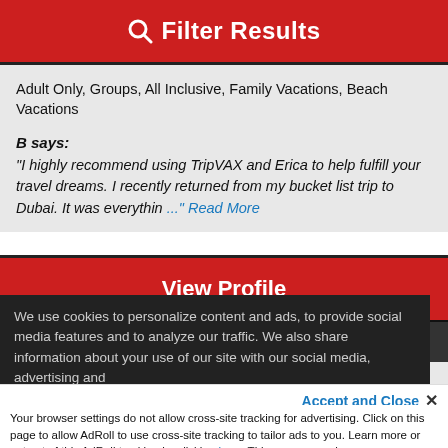Filter Results
Adult Only, Groups, All Inclusive, Family Vacations, Beach Vacations
B says: "I highly recommend using TripVAX and Erica to help fulfill your travel dreams. I recently returned from my bucket list trip to Dubai. It was everythin ..." Read More
View Profile
Email Me | Call Me
We use cookies to personalize content and ads, to provide social media features and to analyze our traffic. We also share information about your use of our site with our social media, advertising and analytics partners. View more
Accept and Close ✕
Your browser settings do not allow cross-site tracking for advertising. Click on this page to allow AdRoll to use cross-site tracking to tailor ads to you. Learn more or opt out of this AdRoll tracking by clicking here. This message only appears once.